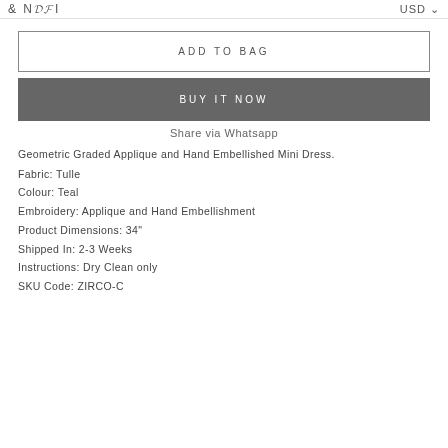& NDFI   USD
ADD TO BAG
BUY IT NOW
Share via Whatsapp
Geometric Graded Applique and Hand Embellished Mini Dress.
Fabric: Tulle
Colour: Teal
Embroidery: Applique and Hand Embellishment
Product Dimensions: 34"
Shipped In: 2-3 Weeks
Instructions: Dry Clean only
SKU Code: ZIRCO-C